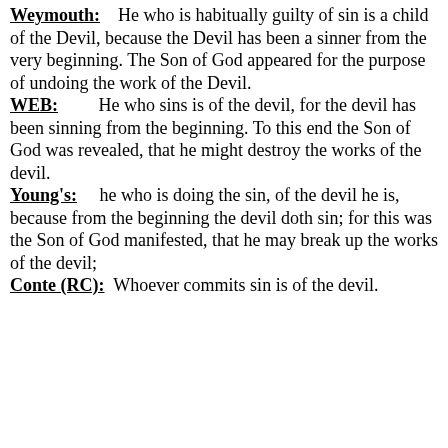Weymouth: He who is habitually guilty of sin is a child of the Devil, because the Devil has been a sinner from the very beginning. The Son of God appeared for the purpose of undoing the work of the Devil.
WEB: He who sins is of the devil, for the devil has been sinning from the beginning. To this end the Son of God was revealed, that he might destroy the works of the devil.
Young's: he who is doing the sin, of the devil he is, because from the beginning the devil doth sin; for this was the Son of God manifested, that he may break up the works of the devil;
Conte (RC): Whoever commits sin is of the devil.